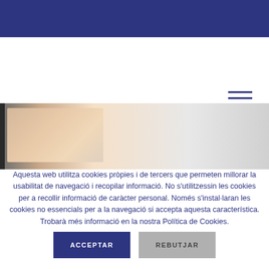[Figure (photo): Partial view of a medical professional wearing a white coat with a stethoscope, cropped close-up photo used as a website header banner]
Aquesta web utilitza cookies pròpies i de tercers que permeten millorar la usabilitat de navegació i recopilar informació. No s'utilitzessin les cookies per a recollir informació de caràcter personal. Només s'instal·laran les cookies no essencials per a la navegació si accepta aquesta característica. Trobarà més informació en la nostra Política de Cookies.
ACCEPTAR
REBUTJAR